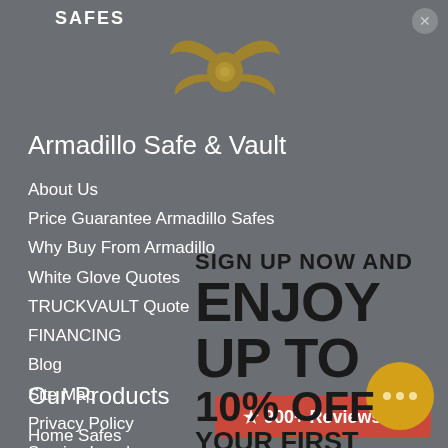SAFES
[Figure (logo): Armadillo Safe & Vault golden winged logo icon]
Armadillo Safe & Vault
About Us
Price Guarantee Armadillo Safes
Why Buy From Armadillo
White Glove Quotes
TRUCKVAULT Quote
FINANCING
Blog
Site Map
Privacy Policy
Service Levels
Shipping and returns
SIGN UP NOW AND ENJOY UP TO 10% OFF YOUR FIRST ORDER *Conditions May Apply On Some Brands.
Our Products
Home Safes
★ 900+ Reviews ★